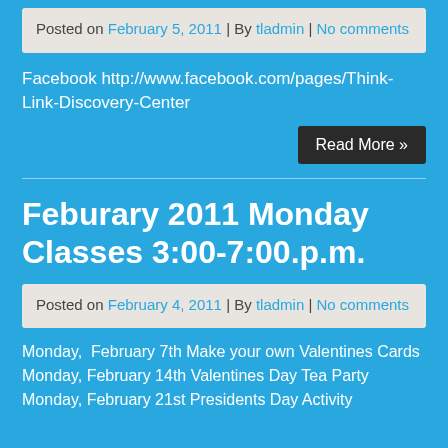Posted on February 5, 2011 | By tladmin | No comments
Facebook http://www.facebook.com/pages/Think-Link-Discovery-Center
Read More »
Feburary 2011 Monday Classes 3:00-7:00.p.m.
Posted on February 4, 2011 | By tladmin | No comments
Monday,  February 7th Make your own Valentines Cards Monday, February 14th Valentines Day Tea Party Monday, February...